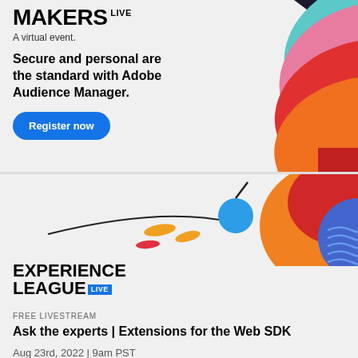MAKERS LIVE
A virtual event.
Secure and personal are the standard with Adobe Audience Manager.
Register now
[Figure (illustration): Abstract colorful layered shapes art on the right side of the top banner – triangular layered arcs in teal, pink, red, orange against white.]
[Figure (illustration): Lower banner illustration: a black curved line with a blue circle on the right, small orange and red oval shapes on the left, and on the right a colorful abstract shape with orange, red, and blue wavy pattern.]
EXPERIENCE LEAGUE LIVE
FREE LIVESTREAM
Ask the experts | Extensions for the Web SDK
Aug 23rd, 2022 | 9am PST